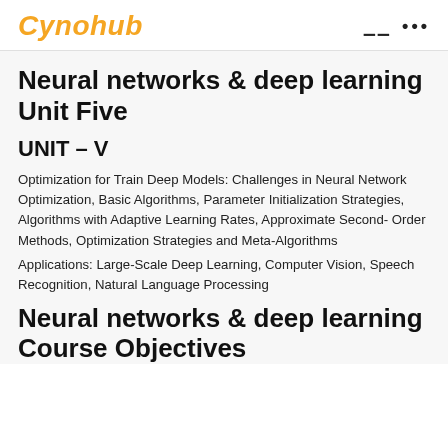Cynohub
Neural networks & deep learning Unit Five
UNIT – V
Optimization for Train Deep Models: Challenges in Neural Network Optimization, Basic Algorithms, Parameter Initialization Strategies, Algorithms with Adaptive Learning Rates, Approximate Second- Order Methods, Optimization Strategies and Meta-Algorithms
Applications: Large-Scale Deep Learning, Computer Vision, Speech Recognition, Natural Language Processing
Neural networks & deep learning Course Objectives